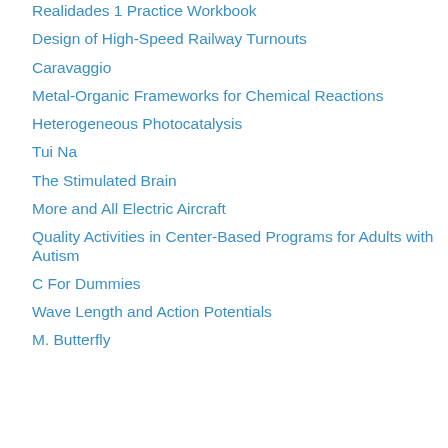Realidades 1 Practice Workbook
Design of High-Speed Railway Turnouts
Caravaggio
Metal-Organic Frameworks for Chemical Reactions
Heterogeneous Photocatalysis
Tui Na
The Stimulated Brain
More and All Electric Aircraft
Quality Activities in Center-Based Programs for Adults with Autism
C For Dummies
Wave Length and Action Potentials
M. Butterfly